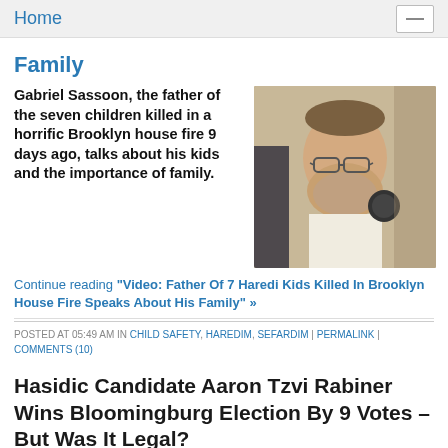Home
Family
Gabriel Sassoon, the father of the seven children killed in a horrific Brooklyn house fire 9 days ago, talks about his kids and the importance of family.
[Figure (photo): Photo of Gabriel Sassoon, a bearded man with glasses speaking into a microphone]
Continue reading "Video: Father Of 7 Haredi Kids Killed In Brooklyn House Fire Speaks About His Family" »
POSTED AT 05:49 AM IN CHILD SAFETY, HAREDIM, SEFARDIM | PERMALINK | COMMENTS (10)
Hasidic Candidate Aaron Tzvi Rabiner Wins Bloomingburg Election By 9 Votes – But Was It Legal?